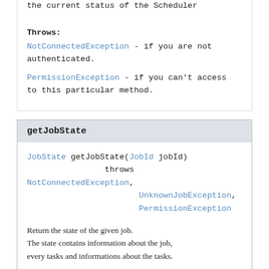the current status of the Scheduler
Throws:
NotConnectedException - if you are not authenticated.
PermissionException - if you can't access to this particular method.
getJobState
JobState getJobState(JobId jobId)
        throws NotConnectedException,
               UnknownJobException,
               PermissionException
Return the state of the given job.
The state contains information about the job, every tasks and informations about the tasks.

A user can only get the state of HIS job.
If the job does not exist, a schedulerException is sent with the proper message.